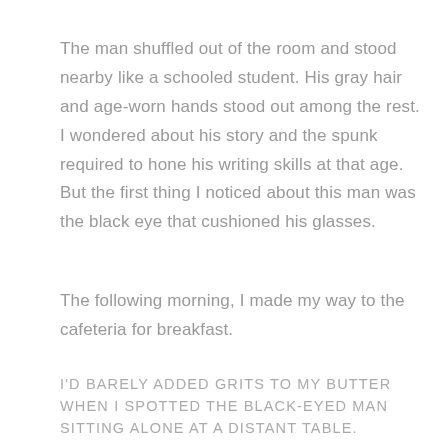The man shuffled out of the room and stood nearby like a schooled student. His gray hair and age-worn hands stood out among the rest. I wondered about his story and the spunk required to hone his writing skills at that age. But the first thing I noticed about this man was the black eye that cushioned his glasses.
The following morning, I made my way to the cafeteria for breakfast.
I'D BARELY ADDED GRITS TO MY BUTTER WHEN I SPOTTED THE BLACK-EYED MAN SITTING ALONE AT A DISTANT TABLE.